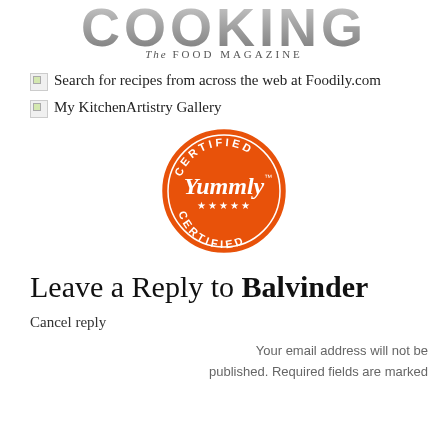[Figure (logo): COOKING The FOOD MAGAZINE logo at top center]
Search for recipes from across the web at Foodily.com
My KitchenArtistry Gallery
[Figure (logo): Yummly Certified badge - orange circular stamp with CERTIFIED YUMMLY CERTIFIED text and stars]
Leave a Reply to Balvinder
Cancel reply
Your email address will not be published. Required fields are marked